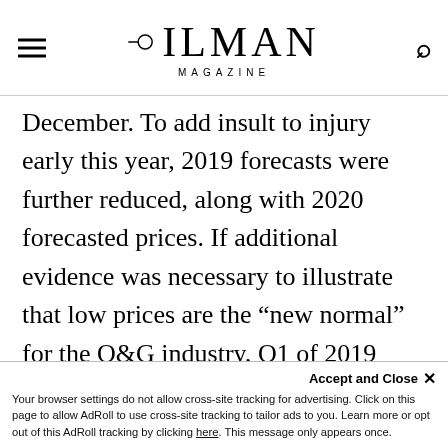OILMAN MAGAZINE
December. To add insult to injury early this year, 2019 forecasts were further reduced, along with 2020 forecasted prices. If additional evidence was necessary to illustrate that low prices are the “new normal” for the O&G industry, Q1 of 2019 provided a solid case.
O&G PRODUCERS AND SERVICE COMPANIES DON’T NEED TO
Accept and Close × Your browser settings do not allow cross-site tracking for advertising. Click on this page to allow AdRoll to use cross-site tracking to tailor ads to you. Learn more or opt out of this AdRoll tracking by clicking here. This message only appears once.